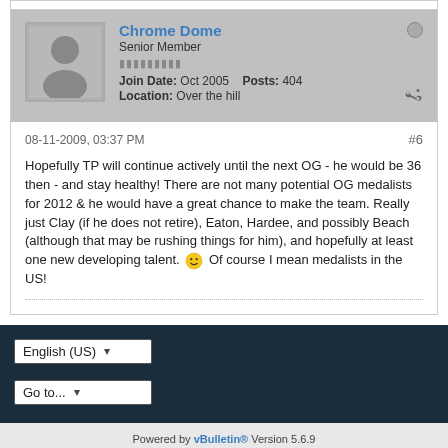Chrome Dome
Senior Member
Join Date: Oct 2005   Posts: 404
Location: Over the hill
08-11-2009, 03:37 PM
#6
Hopefully TP will continue actively until the next OG - he would be 36 then - and stay healthy! There are not many potential OG medalists for 2012 & he would have a great chance to make the team. Really just Clay (if he does not retire), Eaton, Hardee, and possibly Beach (although that may be rushing things for him), and hopefully at least one new developing talent. 🙂 Of course I mean medalists in the US!
Powered by vBulletin® Version 5.6.9 Copyright © 2022 MH Sub I, LLC dba vBulletin. All rights reserved. All times are GMT. This page was generated at 04:53 PM.